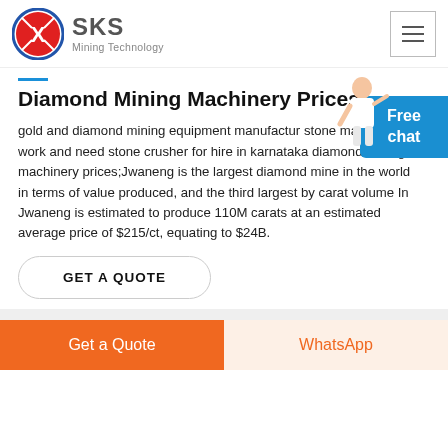SKS Mining Technology
Diamond Mining Machinery Prices
gold and diamond mining equipment manufactur stone mason steel work and need stone crusher for hire in karnataka diamond mining machinery prices;Jwaneng is the largest diamond mine in the world in terms of value produced, and the third largest by carat volume In Jwaneng is estimated to produce 110M carats at an estimated average price of $215/ct, equating to $24B.
GET A QUOTE
Get a Quote | WhatsApp